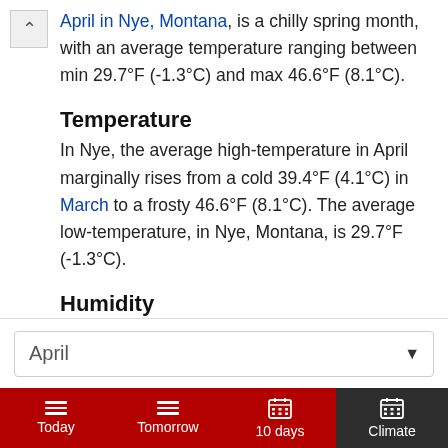April in Nye, Montana, is a chilly spring month, with an average temperature ranging between min 29.7°F (-1.3°C) and max 46.6°F (8.1°C).
Temperature
In Nye, the average high-temperature in April marginally rises from a cold 39.4°F (4.1°C) in March to a frosty 46.6°F (8.1°C). The average low-temperature, in Nye, Montana, is 29.7°F (-1.3°C).
Humidity
The average relative humidity in April in Nye is 71%
April
Today
Tomorrow
10 days
Climate